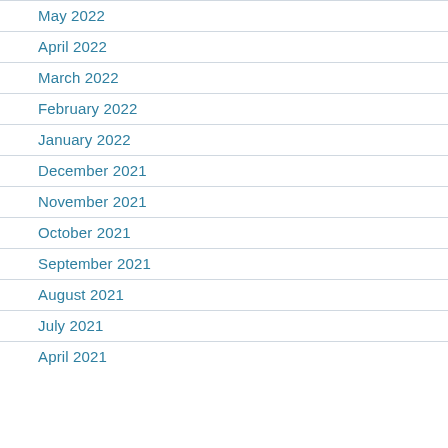May 2022
April 2022
March 2022
February 2022
January 2022
December 2021
November 2021
October 2021
September 2021
August 2021
July 2021
April 2021